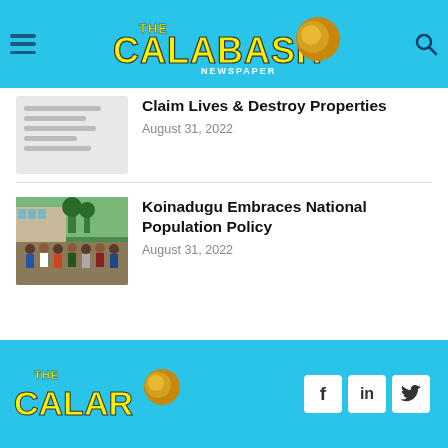The Calabash Newspaper
Claim Lives & Destroy Properties
August 31, 2022
Koinadugu Embraces National Population Policy
August 31, 2022
The Calabash Newspaper — Facebook, LinkedIn, Twitter